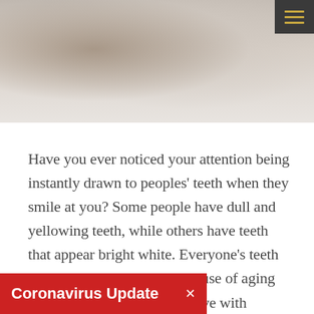[Figure (photo): Partial view of a person in a suit, cropped to show torso/lower face area with blurred background]
Have you ever noticed your attention being instantly drawn to peoples' teeth when they smile at you? Some people have dull and yellowing teeth, while others have teeth that appear bright white. Everyone's teeth naturally dull over time because of aging and the contact your teeth have with staining foods, such as chocolate and coffee. However, teeth-whitening treatments can help … for life.
Coronavirus Update ×